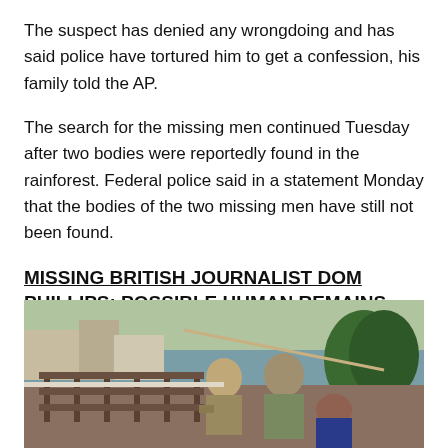The suspect has denied any wrongdoing and has said police have tortured him to get a confession, his family told the AP.
The search for the missing men continued Tuesday after two bodies were reportedly found in the rainforest. Federal police said in a statement Monday that the bodies of the two missing men have still not been found.
MISSING BRITISH JOURNALIST DOM PHILLIPS: POSSIBLE HUMAN REMAINS FOUND IN BRAZIL AMAZON
[Figure (photo): Two people, appearing to be law enforcement officers in camouflage and tactical gear, on what appears to be a boat or dock near water, with tropical vegetation in the background.]